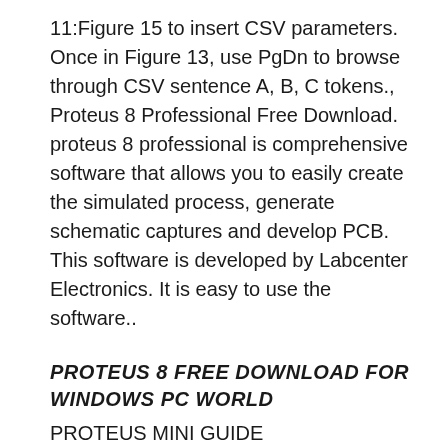11:Figure 15 to insert CSV parameters. Once in Figure 13, use PgDn to browse through CSV sentence A, B, C tokens., Proteus 8 Professional Free Download. proteus 8 professional is comprehensive software that allows you to easily create the simulated process, generate schematic captures and develop PCB. This software is developed by Labcenter Electronics. It is easy to use the software..
PROTEUS 8 FREE DOWNLOAD FOR WINDOWS PC WORLD
PROTEUS MINI GUIDE elecprofstio8.net. Proteus PCB tools seamlessly combines schematic capture and PCB layout to provide a powerful, integrated and easy to use suite of